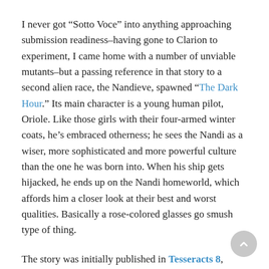I never got “Sotto Voce” into anything approaching submission readiness–having gone to Clarion to experiment, I came home with a number of unviable mutants–but a passing reference in that story to a second alien race, the Nandieve, spawned “The Dark Hour.” Its main character is a young human pilot, Oriole. Like those girls with their four-armed winter coats, he’s embraced otherness; he sees the Nandi as a wiser, more sophisticated and more powerful culture than the one he was born into. When his ship gets hijacked, he ends up on the Nandi homeworld, which affords him a closer look at their best and worst qualities. Basically a rose-colored glasses go smush type of thing.
The story was initially published in Tesseracts 8, which was edited by John Clute and Candas Jane Dorsey. It came out in 2006 and I’d have sworn it was the first of the stories set in this universe to see print. (The Internet Speculative Fiction DB says otherwise.) It was definitely one of the earliest of the batch in terms of when I actually wrote them. Here’s a snip: